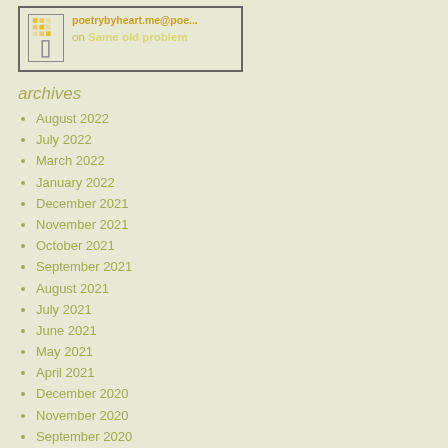[Figure (other): Card with icon showing poetrybyheart.me@poe... on Same old problem]
archives
August 2022
July 2022
March 2022
January 2022
December 2021
November 2021
October 2021
September 2021
August 2021
July 2021
June 2021
May 2021
April 2021
December 2020
November 2020
September 2020
August 2020
July 2020
June 2020